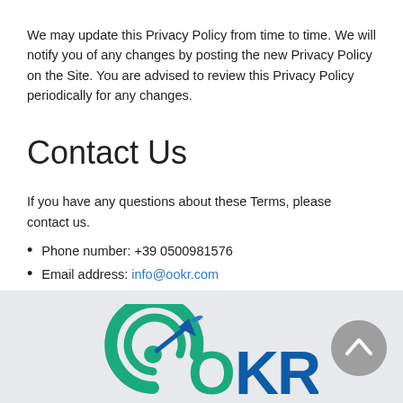We may update this Privacy Policy from time to time. We will notify you of any changes by posting the new Privacy Policy on the Site. You are advised to review this Privacy Policy periodically for any changes.
Contact Us
If you have any questions about these Terms, please contact us.
Phone number: +39 0500981576
Email address: info@ookr.com
[Figure (logo): OOKR logo in green and blue with target/dart icon, shown at bottom of page in a light gray footer area]